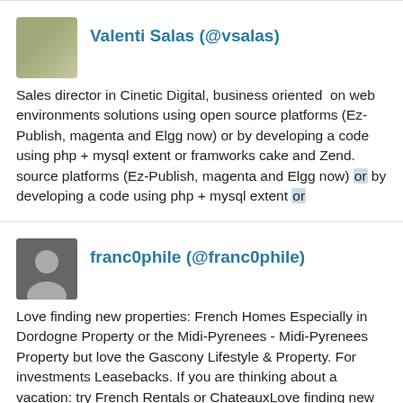[Figure (photo): Avatar photo of Valenti Salas, outdoor/nature tones]
Valenti Salas (@vsalas)
Sales director in Cinetic Digital, business oriented on web environments solutions using open source platforms (Ez-Publish, magenta and Elgg now) or by developing a code using php + mysql extent or framworks cake and Zend. source platforms (Ez-Publish, magenta and Elgg now) or by developing a code using php + mysql extent or
[Figure (photo): Avatar silhouette photo of franc0phile, dark background]
franc0phile (@franc0phile)
Love finding new properties: French Homes Especially in Dordogne Property or the Midi-Pyrenees - Midi-Pyrenees Property but love the Gascony Lifestyle & Property. For investments Leasebacks. If you are thinking about a vacation: try French Rentals or ChateauxLove finding new properties: French Homes Especially